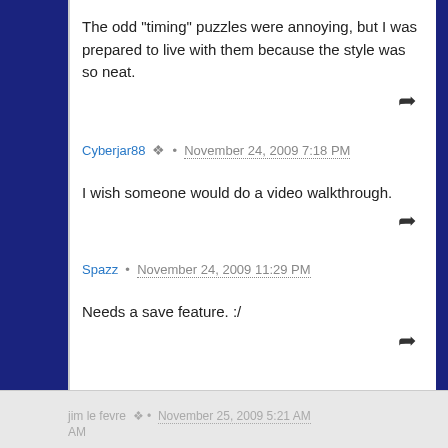The odd "timing" puzzles were annoying, but I was prepared to live with them because the style was so neat.
Cyberjar88 • November 24, 2009 7:18 PM
I wish someone would do a video walkthrough.
Spazz • November 24, 2009 11:29 PM
Needs a save feature. :/
jim le fevre • November 25, 2009 5:21 AM